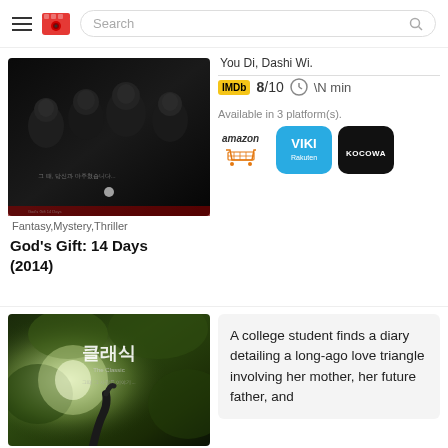Search bar with hamburger menu and logo
You Di, Dashi Wi.
[Figure (photo): Movie poster for God's Gift: 14 Days (2014) - dark image showing four characters staring forward with Korean text]
Fantasy,Mystery,Thriller
God's Gift: 14 Days (2014)
IMDb 8/10 \N min
Available in 3 platform(s).
[Figure (logo): Amazon logo]
[Figure (logo): VIKI Rakuten logo]
[Figure (logo): KOCOWA logo]
[Figure (photo): Movie poster showing Korean text 클래식 (The Classic) with green foliage and light]
A college student finds a diary detailing a long-ago love triangle involving her mother, her future father, and